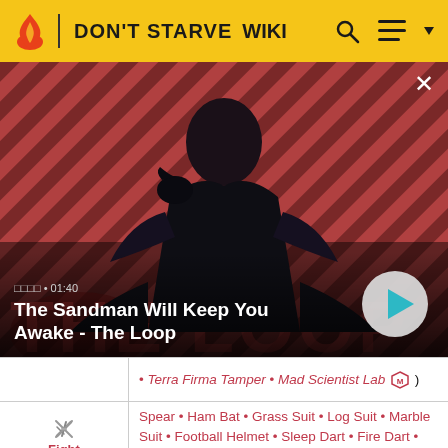DON'T STARVE WIKI
[Figure (screenshot): Video thumbnail showing a character (The Sandman) in dark clothing with a raven, against a red diagonal stripe background. Title text 'The Sandman Will Keep You Awake - The Loop' with timestamp 01:40 and a play button.]
|  | • Terra Firma Tamper • Mad Scientist Lab 🛡️ ) |
| ⚔️ Fight | Spear • Ham Bat • Grass Suit • Log Suit • Marble Suit • Football Helmet • Sleep Dart • Fire Dart • Blow Dart • Boomerang • Bee Mine • Tooth Trap |